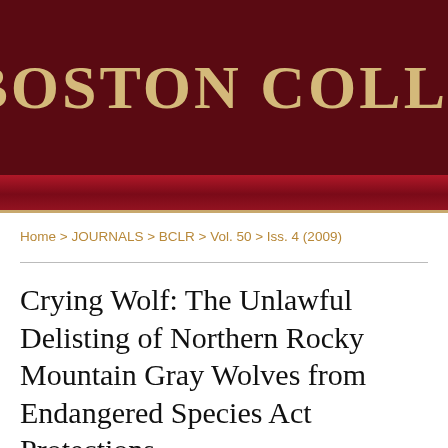[Figure (logo): Boston College header banner with dark red background and gold serif text reading BOSTON COLL (truncated)]
Home > JOURNALS > BCLR > Vol. 50 > Iss. 4 (2009)
Crying Wolf: The Unlawful Delisting of Northern Rocky Mountain Gray Wolves from Endangered Species Act Protections
Jesse H. Alderman
Document Type
Notes